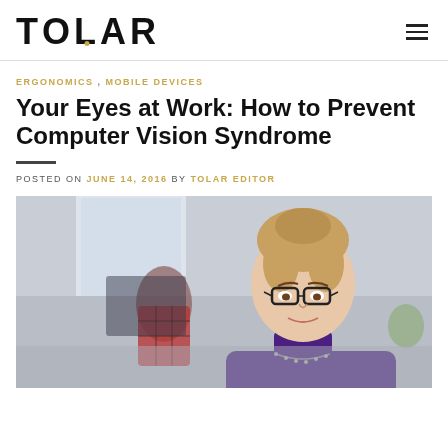TOLAR
ERGONOMICS , MOBILE DEVICES
Your Eyes at Work: How to Prevent Computer Vision Syndrome
POSTED ON JUNE 14, 2016 BY TOLAR EDITOR
[Figure (photo): Woman with glasses wearing a purple turtleneck looking down, working; blurred man in red plaid shirt in background in an office setting]